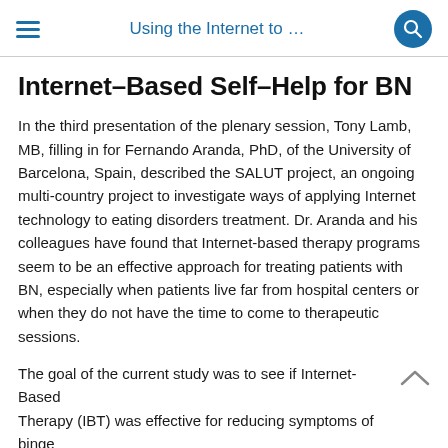Using the Internet to …
Internet–Based Self–Help for BN
In the third presentation of the plenary session, Tony Lamb, MB, filling in for Fernando Aranda, PhD, of the University of Barcelona, Spain, described the SALUT project, an ongoing multi-country project to investigate ways of applying Internet technology to eating disorders treatment. Dr. Aranda and his colleagues have found that Internet-based therapy programs seem to be an effective approach for treating patients with BN, especially when patients live far from hospital centers or when they do not have the time to come to therapeutic sessions.
The goal of the current study was to see if Internet-Based Therapy (IBT) was effective for reducing symptoms of binge